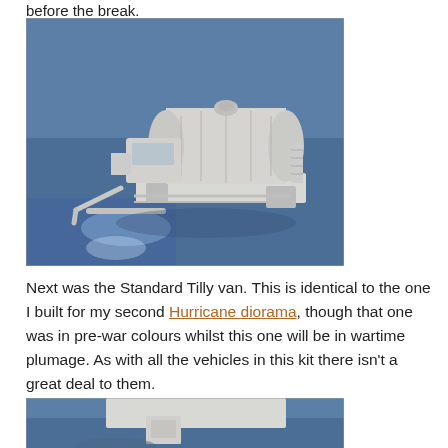before the break.
[Figure (photo): A white/grey unpainted scale model of a military fuel bowser truck on a blue surface, viewed from the front-left angle showing the cylindrical tank and cab detail.]
Next was the Standard Tilly van. This is identical to the one I built for my second Hurricane diorama, though that one was in pre-war colours whilst this one will be in wartime plumage. As with all the vehicles in this kit there isn't a great deal to them.
[Figure (photo): Partial view of another grey/white unpainted scale model vehicle on a blue surface, cropped at bottom of page.]